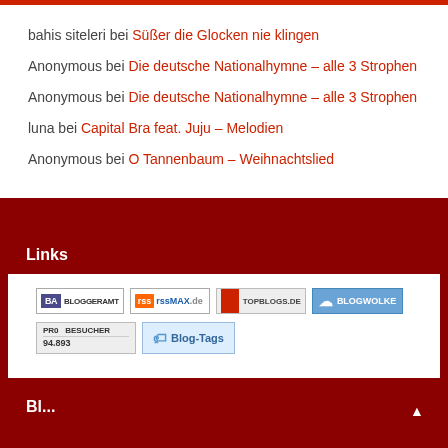bahis siteleri bei Süßer die Glocken nie klingen
Anonymous bei Die deutsche Nationalhymne – alle 3 Strophen
Anonymous bei Die deutsche Nationalhymne – alle 3 Strophen
luna bei Capital Bra feat. Juju – Melodien
Anonymous bei O Tannenbaum – Weihnachtslied
Links
[Figure (other): Row of blog badge icons: Bloggeramt, rssMAX.de, Topblogs.de, Blogwolke, PR0 Besucher 94.893, Blog-Tags]
Bl...